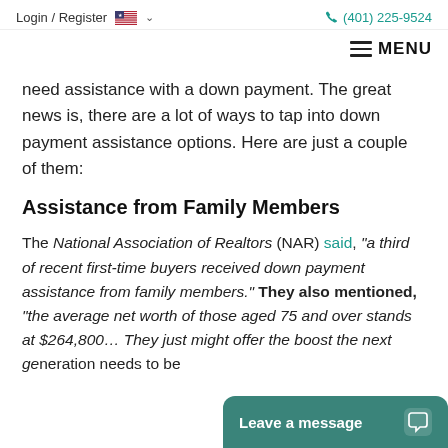Login / Register  (401) 225-9524
MENU
need assistance with a down payment. The great news is, there are a lot of ways to tap into down payment assistance options. Here are just a couple of them:
Assistance from Family Members
The National Association of Realtors (NAR) said, “a third of recent first-time buyers received down payment assistance from family members.” They also mentioned, “the average net worth of those aged 75 and over stands at $264,800… They just might offer the boost the next generation needs to be
Leave a message